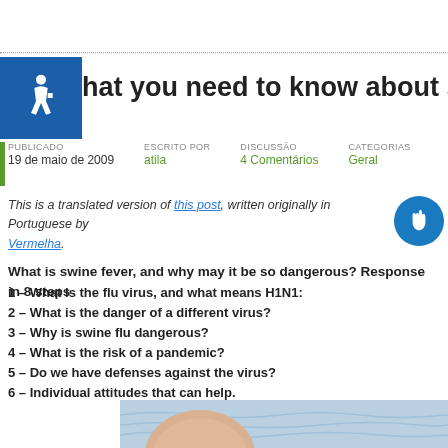[Figure (logo): Accessibility icon – white wheelchair symbol on blue background]
hat you need to know about swine f
PUBLICADO 19 de maio de 2009 | ESCRITO POR atila | DISCUSSÃO 4 Comentários | CATEGORIAS Geral
This is a translated version of this post, written originally in Portuguese by Vermelha.
What is swine fever, and why may it be so dangerous? Response in 8 steps
1 – What is the flu virus, and what means H1N1:
2 – What is the danger of a different virus?
3 – Why is swine flu dangerous?
4 – What is the risk of a pandemic?
5 – Do we have defenses against the virus?
6 – Individual attitudes that can help.
[Figure (photo): Close-up photo of a pig's head near water]